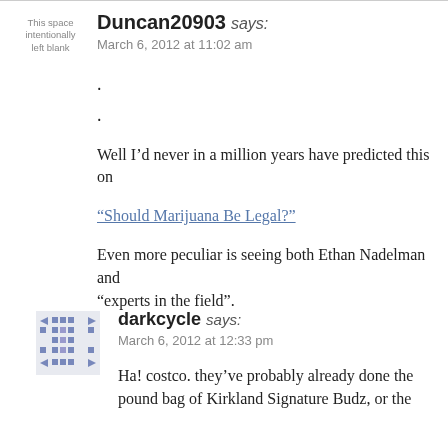Duncan20903 says:
March 6, 2012 at 11:02 am
.
.
Well I’d never in a million years have predicted this on
“Should Marijuana Be Legal?”
Even more peculiar is seeing both Ethan Nadelman and “experts in the field”.
darkcycle says:
March 6, 2012 at 12:33 pm
Ha! costco. they’ve probably already done the pound bag of Kirkland Signature Budz, or the